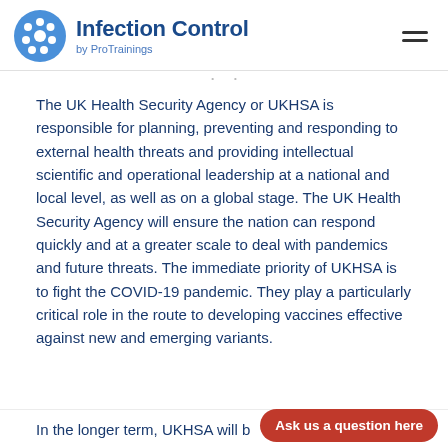Infection Control by ProTrainings
The UK Health Security Agency or UKHSA is responsible for planning, preventing and responding to external health threats and providing intellectual scientific and operational leadership at a national and local level, as well as on a global stage. The UK Health Security Agency will ensure the nation can respond quickly and at a greater scale to deal with pandemics and future threats. The immediate priority of UKHSA is to fight the COVID-19 pandemic. They play a particularly critical role in the route to developing vaccines effective against new and emerging variants
In the longer term, UKHSA will b